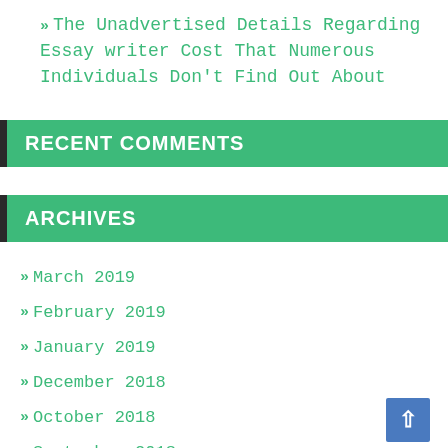» The Unadvertised Details Regarding Essay writer Cost That Numerous Individuals Don't Find Out About
RECENT COMMENTS
ARCHIVES
» March 2019
» February 2019
» January 2019
» December 2018
» October 2018
» September 2018
» August 2018